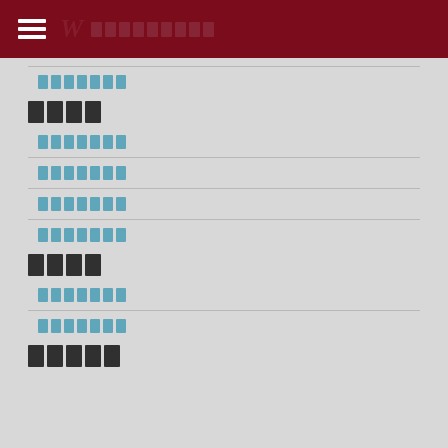Wikipedia [redacted]
[redacted link]
[redacted]
[redacted link]
[redacted link]
[redacted link]
[redacted link]
[redacted]
[redacted link]
[redacted link]
[redacted]